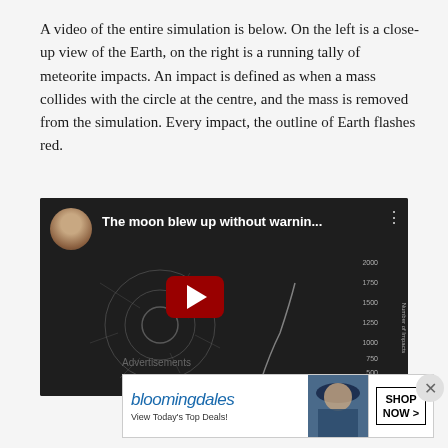A video of the entire simulation is below. On the left is a close-up view of the Earth, on the right is a running tally of meteorite impacts. An impact is defined as when a mass collides with the circle at the centre, and the mass is removed from the simulation. Every impact, the outline of Earth flashes red.
[Figure (screenshot): YouTube video thumbnail showing 'The moon blew up without warnin...' with a dark background showing an Earth simulation on the left and a running tally graph on the right. A red YouTube play button is visible in the center.]
Advertisements
[Figure (illustration): Bloomingdale's advertisement banner with logo, 'View Today's Top Deals!' tagline, a woman in a hat, and a 'SHOP NOW >' button.]